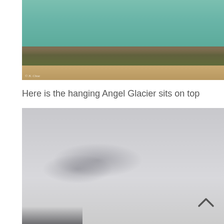[Figure (photo): Aerial or ground-level view of a glacial lake with turquoise water, floating ice chunks, a glacier wall in the background, and a sandy/rocky shoreline with sparse vegetation in the foreground. Watermark reads '© N. Choe' in bottom left.]
Here is the hanging Angel Glacier sits on top
[Figure (photo): Overcast sky with low gray clouds, very light and hazy. A dark mountain or terrain feature visible at the bottom left. A chevron/caret (^) navigation icon visible in the upper right area of the image.]